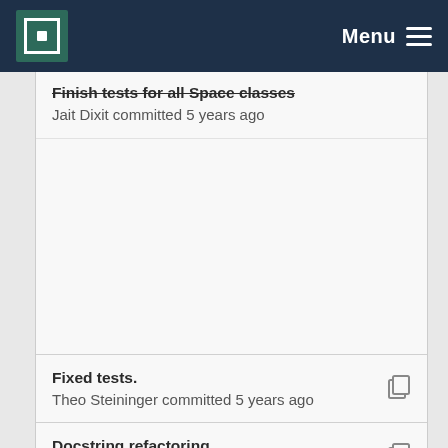MPCDF Menu
Finish tests for all Space classes
Jait Dixit committed 5 years ago
Fixed tests.
Theo Steininger committed 5 years ago
Docstring refactoring.
Theo Steininger committed 5 years ago